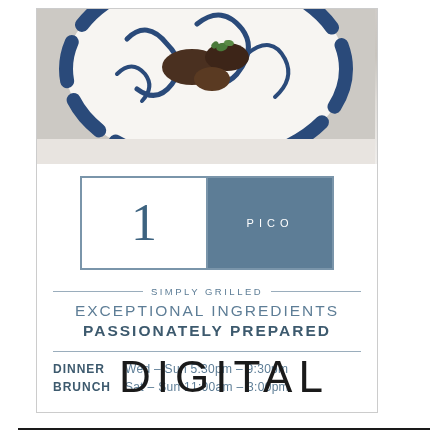[Figure (photo): Advertisement for PICO restaurant. Top portion shows a partial food photo of a blue and white decorative plate with grilled food items. Below is a logo box split into two halves: left white with large numeral '1', right steel blue with 'PICO' in white letters. Below the logo: tagline lines reading 'SIMPLY GRILLED', 'EXCEPTIONAL INGREDIENTS', 'PASSIONATELY PREPARED'. Hours listed: DINNER Wed–Sun 5:30pm–9:30pm, BRUNCH Sat–Sun 11:00am–3:00pm.]
DIGITAL